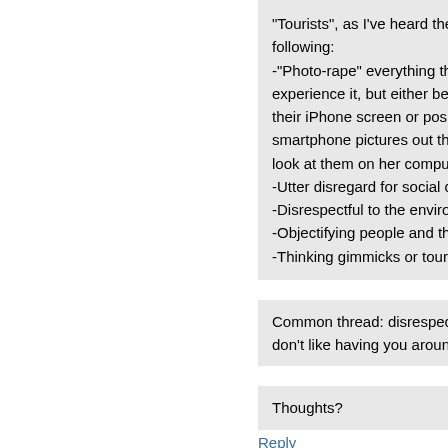“Tourists”, as I’ve heard the term used, have variations, but g following: -“Photo-rape” everything they see (objectifying everything an experience it, but either being concerned about cataloguing a their iPhone screen or posing in front of things for selfies). I s smartphone pictures out the Bernina Express window throug look at them on her computer, she didn’t look at the scenery -Utter disregard for social customs, and no apparent desire t -Disrespectful to the environment around them, possibly inclu -Objectifying people and their surroundings as something “ot -Thinking gimmicks or tourist traps are cultural mainstays
Common thread: disrespect, selfish cluelessness, closed-min don’t like having you around for other than your money.
Thoughts?
Reply
longbowman
12 September 2015 at 1
I.e. by tourist traps I mean people selling fake price’, thinking that everyone listens to “Con Te buskers frequently play this song, etc.